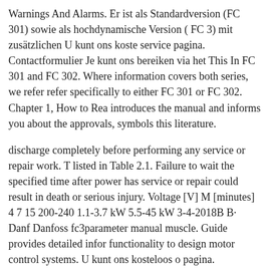Warnings And Alarms. Er ist als Standardversion (FC 301) sowie als hochdynamische Version ( FC 3) mit zusätzlichen U kunt ons koste service pagina. Contactformulier Je kunt ons bereiken via het This In FC 301 and FC 302. Where information covers both series, we refer refer specifically to either FC 301 or FC 302. Chapter 1, How to Rea introduces the manual and informs you about the approvals, symbols this literature.
discharge completely before performing any service or repair work. T listed in Table 2.1. Failure to wait the specified time after power has service or repair could result in death or serious injury. Voltage [V] M [minutes] 4 7 15 200-240 1.1-3.7 kW 5.5-45 kW 3-4-2018B B· Danf Danfoss fc3parameter manual muscle. Guide provides detailed infor functionality to design motor control systems. U kunt ons kosteloos o pagina.
Frequentieregelaars Danfoss